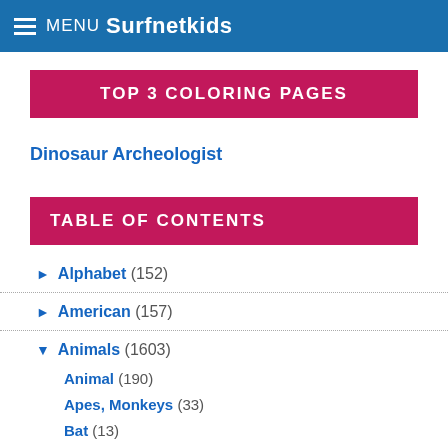MENU Surfnetkids
TOP 3 COLORING PAGES
Dinosaur Archeologist
TABLE OF CONTENTS
► Alphabet (152)
► American (157)
▼ Animals (1603)
Animal (190)
Apes, Monkeys (33)
Bat (13)